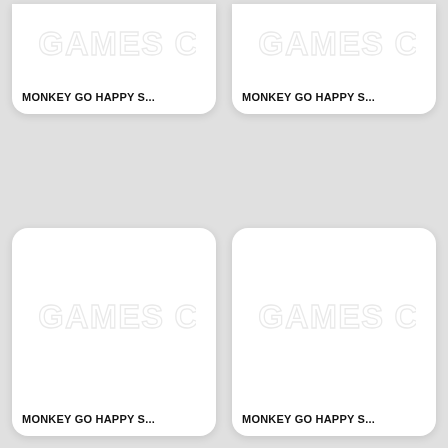[Figure (logo): GamesCo logo placeholder on card 1 (top-left)]
MONKEY GO HAPPY S...
[Figure (logo): GamesCo logo placeholder on card 2 (top-right)]
MONKEY GO HAPPY S...
[Figure (logo): GamesCo logo placeholder on card 3 (bottom-left)]
MONKEY GO HAPPY S...
[Figure (logo): GamesCo logo placeholder on card 4 (bottom-right)]
MONKEY GO HAPPY S...